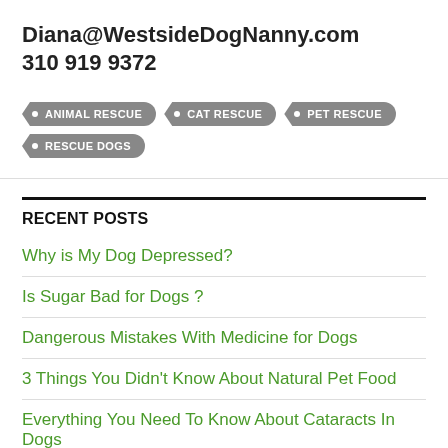Diana@WestsideDogNanny.com
310 919 9372
• ANIMAL RESCUE
• CAT RESCUE
• PET RESCUE
• RESCUE DOGS
RECENT POSTS
Why is My Dog Depressed?
Is Sugar Bad for Dogs ?
Dangerous Mistakes With Medicine for Dogs
3 Things You Didn't Know About Natural Pet Food
Everything You Need To Know About Cataracts In Dogs